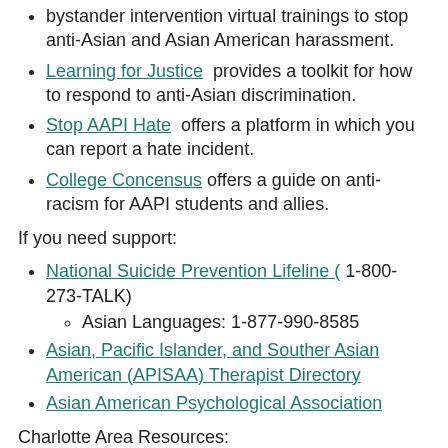bystander intervention virtual trainings to stop anti-Asian and Asian American harassment.
Learning for Justice provides a toolkit for how to respond to anti-Asian discrimination.
Stop AAPI Hate offers a platform in which you can report a hate incident.
College Concensus offers a guide on anti-racism for AAPI students and allies.
If you need support:
National Suicide Prevention Lifeline ( 1-800-273-TALK)
  Asian Languages: 1-877-990-8585
Asian, Pacific Islander, and Souther Asian American (APISAA) Therapist Directory
Asian American Psychological Association
Charlotte Area Resources:
Center for Counseling and Psychological Services